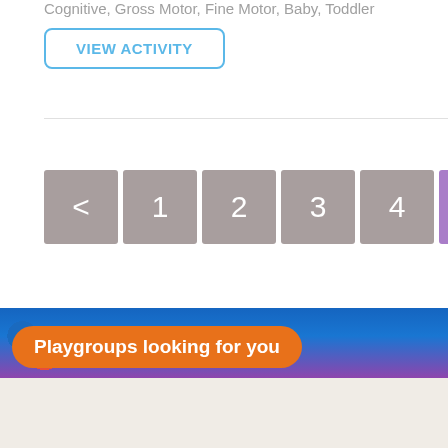Cognitive, Gross Motor, Fine Motor, Baby, Toddler
VIEW ACTIVITY
< 1 2 3 4 5 6
[Figure (screenshot): Photo banner with colorful background (blue and red tones)]
Playgroups looking for you
[Figure (map): Light beige map area with zoom button]